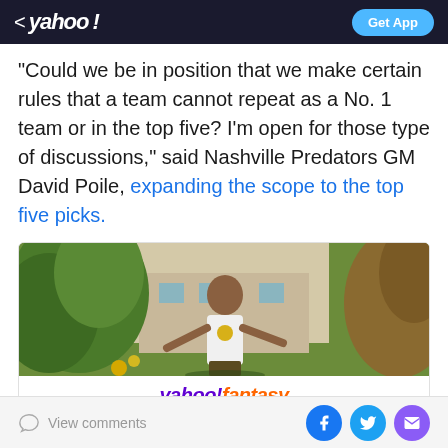yahoo! | Get App
"Could we be in position that we make certain rules that a team cannot repeat as a No. 1 team or in the top five? I'm open for those type of discussions," said Nashville Predators GM David Poile, expanding the scope to the top five picks.
[Figure (photo): Yahoo Fantasy advertisement showing a man in white outfit with gold chain standing outdoors with plants in background, with Yahoo! fantasy logo and text 'Play fantasy football Get your people on the free and easy fantasy app']
View comments